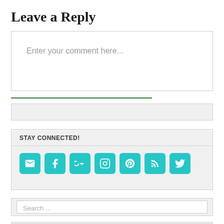Leave a Reply
Enter your comment here...
STAY CONNECTED!
[Figure (infographic): Row of 7 social media icon buttons (email, Facebook, Google+, Instagram, Pinterest, RSS, Twitter) in teal/cyan color on a light gray background widget]
Search ...